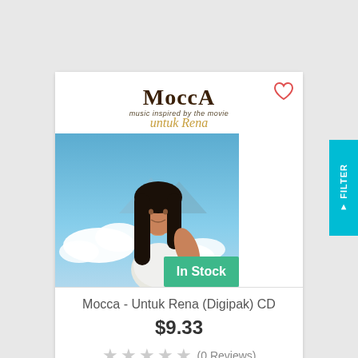[Figure (photo): Product card for Mocca - Untuk Rena (Digipak) CD showing album cover with the Mocca logo, subtitle text 'music inspired by the movie', 'untuk Rena' text in gold script, and a photograph of a young woman with long dark hair in a white shirt against a sky background with clouds. An 'In Stock' green badge is shown at the bottom right of the image.]
Mocca - Untuk Rena (Digipak) CD
$9.33
(0 Reviews)
ADD TO CART